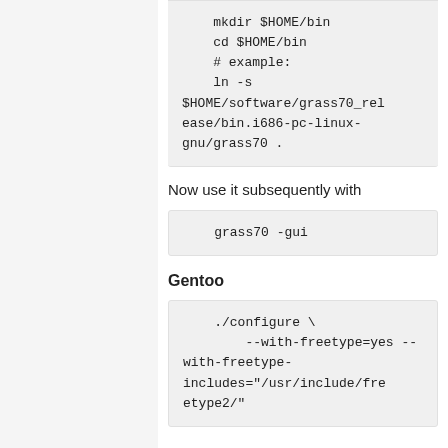mkdir $HOME/bin
    cd $HOME/bin
    # example:
    ln -s
$HOME/software/grass70_release/bin.i686-pc-linux-gnu/grass70 .
Now use it subsequently with
grass70 -gui
Gentoo
./configure \
    --with-freetype=yes --with-freetype-includes="/usr/include/freetype2/"